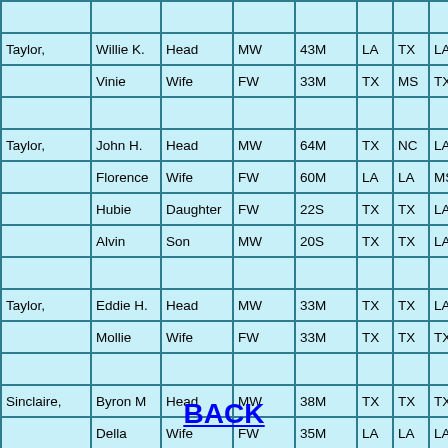| Surname | First Name | Relation | Race/Gender | Age/Marital | State1 | State2 | State3 |
| --- | --- | --- | --- | --- | --- | --- | --- |
|  |  |  |  |  |  |  |  |
| Taylor, | Willie K. | Head | MW | 43M | LA | TX | LA |
|  | Vinie | Wife | FW | 33M | TX | MS | TX |
|  |  |  |  |  |  |  |  |
| Taylor, | John H. | Head | MW | 64M | TX | NC | LA |
|  | Florence | Wife | FW | 60M | LA | LA | MS |
|  | Hubie | Daughter | FW | 22S | TX | TX | LA |
|  | Alvin | Son | MW | 20S | TX | TX | LA |
|  |  |  |  |  |  |  |  |
| Taylor, | Eddie H. | Head | MW | 33M | TX | TX | LA |
|  | Mollie | Wife | FW | 33M | TX | TX | TX |
|  |  |  |  |  |  |  |  |
| Sinclaire, | Byron M | Head | MW | 38M | TX | TX | TX |
|  | Della | Wife | FW | 35M | LA | LA | LA |
|  | Justine | Daughter | FW | 12S | TX | TX | LA |
|  |  |  |  |  |  |  |  |
BACK